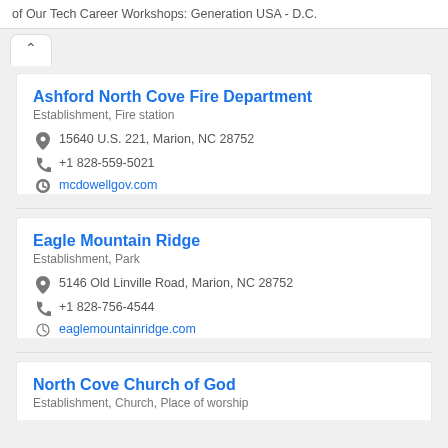of Our Tech Career Workshops: Generation USA - D.C.
^
Ashford North Cove Fire Department
Establishment, Fire station
15640 U.S. 221, Marion, NC 28752
+1 828-559-5021
mcdowellgov.com
Eagle Mountain Ridge
Establishment, Park
5146 Old Linville Road, Marion, NC 28752
+1 828-756-4544
eaglemountainridge.com
North Cove Church of God
Establishment, Church, Place of worship